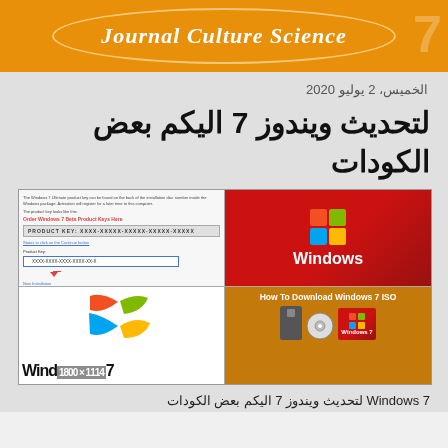Journal Culture Science
الخميس، 2 يوليو 2020
لتحديث ويندوز 7 اليكم بعض الكودات
[Figure (photo): A 2x2 collage of Windows 7 related images: top-left shows a Windows 7 product key activation screen, top-right shows the Windows 7 logo on red background, bottom-left shows the Windows logo with 'Wind...7' text, bottom-right shows 'How To Download Windows 7 ISO' with USB and disc images.]
Windows 7 لتحديث ويندوز 7 اليكم بعض الكودات